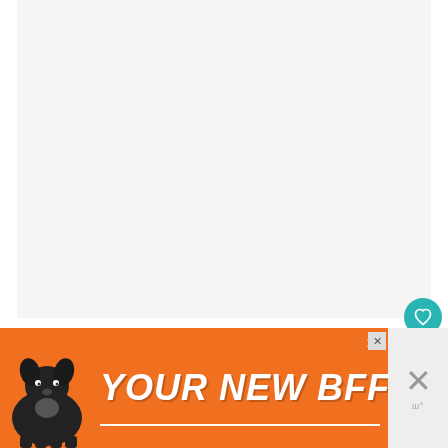[Figure (photo): Large image placeholder area with light beige/grey background, approximately upper two-thirds of the page]
Originally the stud farm was based in t small town of Lipica in Slovenia. After Sl the rm
[Figure (infographic): Orange advertisement banner overlay at the bottom of the page reading YOUR NEW BFF with a dog illustration on the left side]